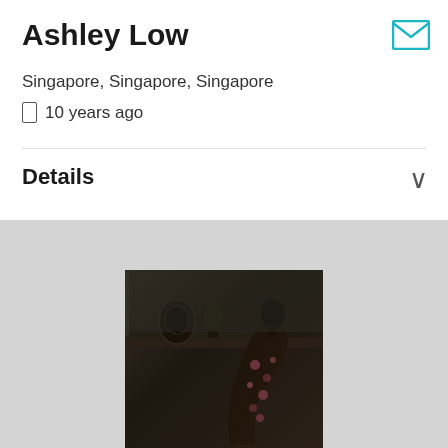Ashley Low
Singapore, Singapore, Singapore
📱 10 years ago
Details
[Figure (photo): Fashion photo of a person leaning back near a fireplace mantel with a clock and vases, wearing a dark floral patterned outfit, moody dark background]